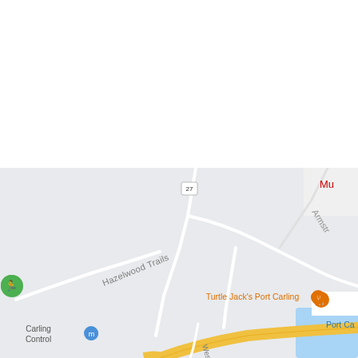[Figure (map): Google Maps screenshot showing Port Carling area in Ontario, Canada. The top portion is white/blank. The lower portion shows a road map with roads labeled Hazelwood Trails, route 27 highway shields, Armstrong road (partially visible), West St, Turtle Jack's Port Carling restaurant marker in orange, a green hiking trail marker on the left, a blue museum/government marker labeled Carling Control, and a blue water body labeled Port Ca (Port Carling) in the bottom right corner. A yellow/gold curved road (highway) cuts diagonally across the bottom of the map.]